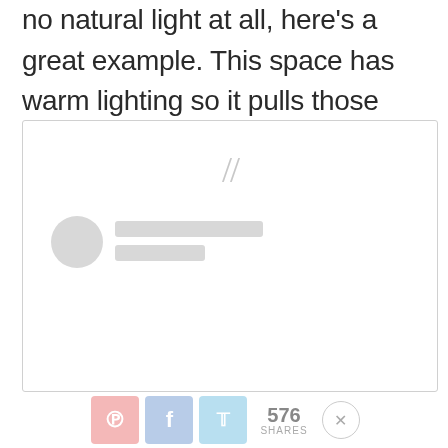no natural light at all, here's a great example. This space has warm lighting so it pulls those warm purple undertones out.
[Figure (screenshot): Embedded social media comment widget with quote marks, a placeholder avatar circle, two grey placeholder bars for username/handle, and empty comment area. At the bottom is a share bar with Pinterest, Facebook, Twitter buttons, a share count of 576, and a close button.]
576 SHARES